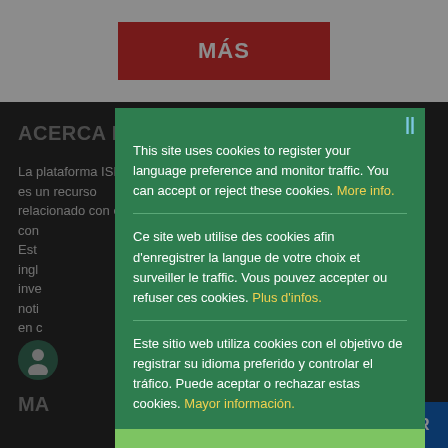[Figure (screenshot): Red button with white text 'MÁS' on white background]
ACERCA DE LA PLATAFORMA ISDS
La plataforma ISDS es un recurso relacionado con el con... Est... ingl... inve... noti... en c...
[Figure (screenshot): Cookie consent modal in green with multilingual cookie notices in English, French, and Spanish, and an Ok button]
MA
[Figure (other): SUSCRIBIR blue button at bottom right]